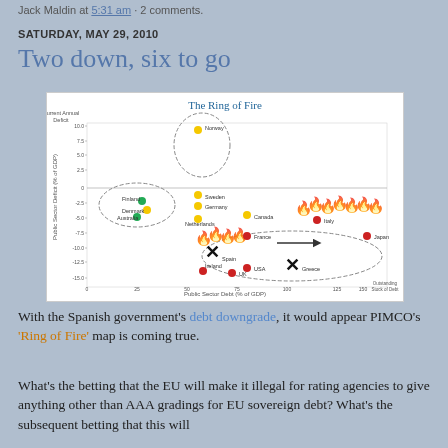Jack Maldin at 5:31 am · 2 comments.
SATURDAY, MAY 29, 2010
Two down, six to go
[Figure (scatter-plot): Scatter plot showing countries positioned by their public sector debt (x-axis) vs current annual deficit (y-axis). Countries include Norway, Sweden, Germany, Finland, Denmark, Australia, Netherlands, Canada, Italy, France, Spain (marked with X), Ireland, USA, UK, Greece (marked with X), Japan. Flame graphics appear along right horizontal band and lower-center. Dashed circles group: top (Norway), left (Finland/Denmark/Australia), bottom-right ring (Japan/Greece/UK area). Arrow points right toward Japan.]
With the Spanish government's debt downgrade, it would appear PIMCO's 'Ring of Fire' map is coming true.
What's the betting that the EU will make it illegal for rating agencies to give anything other than AAA gradings for EU sovereign debt? What's the subsequent betting that this will